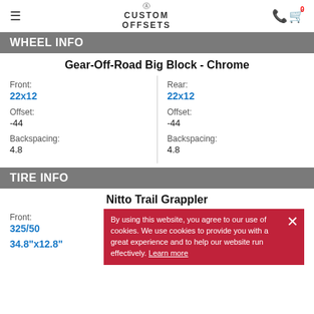Custom Offsets
WHEEL INFO
Gear-Off-Road Big Block - Chrome
Front: 22x12
Rear: 22x12
Offset: -44
Offset: -44
Backspacing: 4.8
Backspacing: 4.8
TIRE INFO
Nitto Trail Grappler
Front: 325/50 34.8"x12.8"
Rear: 325/50 34.8"x12.8"
By using this website, you agree to our use of cookies. We use cookies to provide you with a great experience and to help our website run effectively. Learn more